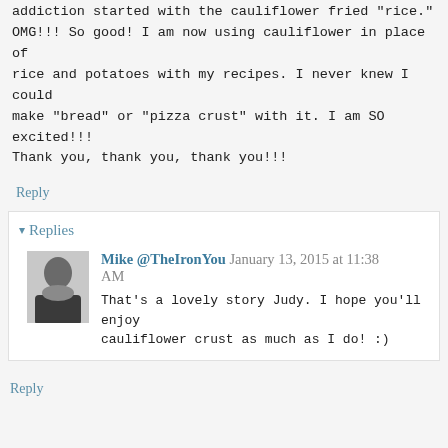addiction started with the cauliflower fried "rice." OMG!!! So good! I am now using cauliflower in place of rice and potatoes with my recipes. I never knew I could make "bread" or "pizza crust" with it. I am SO excited!!! Thank you, thank you, thank you!!!
Reply
▾ Replies
Mike @TheIronYou January 13, 2015 at 11:38 AM
That's a lovely story Judy. I hope you'll enjoy cauliflower crust as much as I do! :)
Reply